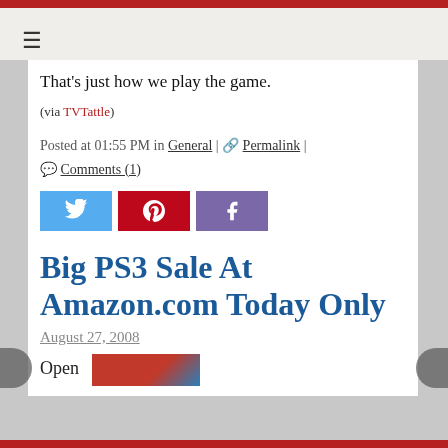≡
That's just how we play the game.
(via TVTattle)
Posted at 01:55 PM in General | 🔗 Permalink | 💬 Comments (1)
[Figure (other): Social share buttons: Twitter (blue), Pinterest (red), Facebook (purple)]
Big PS3 Sale At Amazon.com Today Only
August 27, 2008
Open